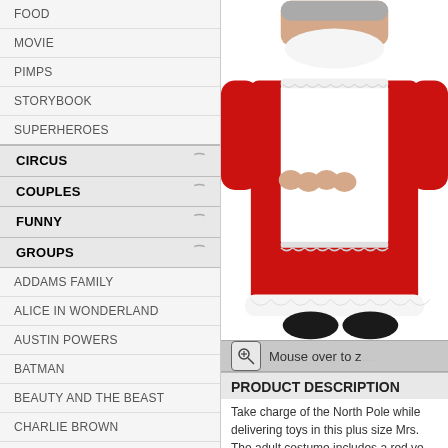FOOD
MOVIE
PIMPS
STORYBOOK
SUPERHEROES
CIRCUS
COUPLES
FUNNY
GROUPS
ADDAMS FAMILY
ALICE IN WONDERLAND
AUSTIN POWERS
BATMAN
BEAUTY AND THE BEAST
CHARLIE BROWN
DISNEY
FLINTSTONES
GOLDILOCKS
KISS
LITTLE RED RIDING HOOD
LOONEY TUNES
MUPPETS
[Figure (photo): Photo of a person wearing a Mrs. Claus costume — red velvet dress with white apron and white fur trim at the bottom, holding hands together at waist level. Christmas holiday costume.]
Mouse over to zoom
PRODUCT DESCRIPTION
Take charge of the North Pole while delivering toys in this plus size Mrs. The adult costume includes a red ve